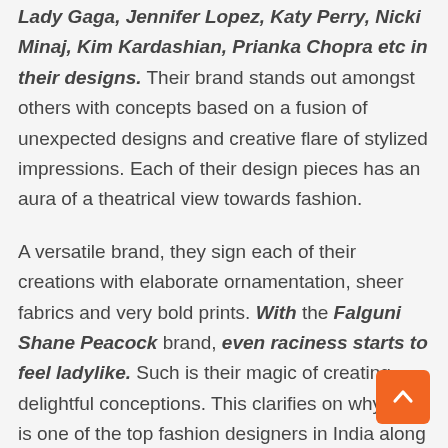Lady Gaga, Jennifer Lopez, Katy Perry, Nicki Minaj, Kim Kardashian, Prianka Chopra etc in their designs. Their brand stands out amongst others with concepts based on a fusion of unexpected designs and creative flare of stylized impressions. Each of their design pieces has an aura of a theatrical view towards fashion.
A versatile brand, they sign each of their creations with elaborate ornamentation, sheer fabrics and very bold prints. With the Falguni Shane Peacock brand, even raciness starts to feel ladylike. Such is their magic of creating delightful conceptions. This clarifies on why she is one of the top fashion designers in India along with her husband as a duo.